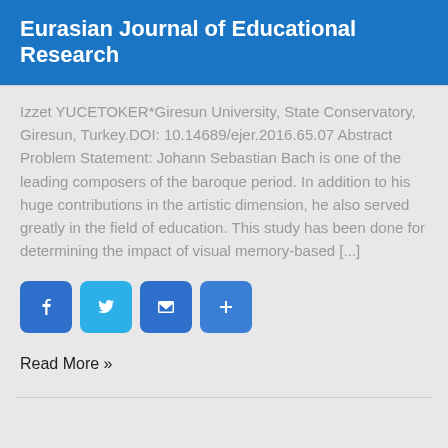Eurasian Journal of Educational Research
Izzet YUCETOKER*Giresun University, State Conservatory, Giresun, Turkey.DOI: 10.14689/ejer.2016.65.07 Abstract Problem Statement: Johann Sebastian Bach is one of the leading composers of the baroque period. In addition to his huge contributions in the artistic dimension, he also served greatly in the field of education. This study has been done for determining the impact of visual memory-based [...]
[Figure (other): Social sharing buttons: Facebook, Twitter, Email, and Share (+)]
Read More »